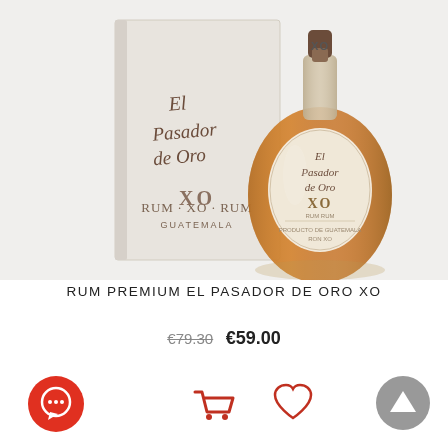[Figure (photo): Product photo of El Pasador de Oro XO rum bottle (amber glass, ornate label with 'XO') next to its white gift box with cursive 'El Pasador de Oro' logo and 'XO RUM GUATEMALA' text on white background.]
RUM PREMIUM EL PASADOR DE ORO XO
€79.30  €59.00